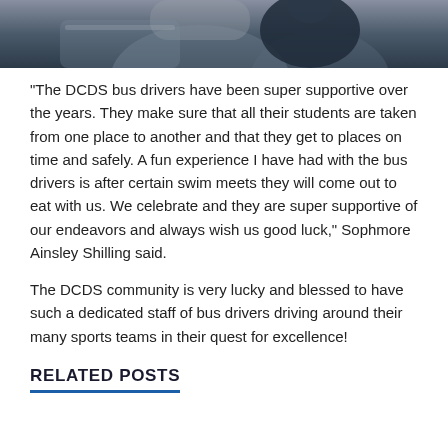[Figure (photo): Close-up photo of a person in a vehicle, showing interior seating and a figure wearing dark clothing]
“The DCDS bus drivers have been super supportive over the years. They make sure that all their students are taken from one place to another and that they get to places on time and safely. A fun experience I have had with the bus drivers is after certain swim meets they will come out to eat with us. We celebrate and they are super supportive of our endeavors and always wish us good luck,” Sophmore Ainsley Shilling said.
The DCDS community is very lucky and blessed to have such a dedicated staff of bus drivers driving around their many sports teams in their quest for excellence!
RELATED POSTS